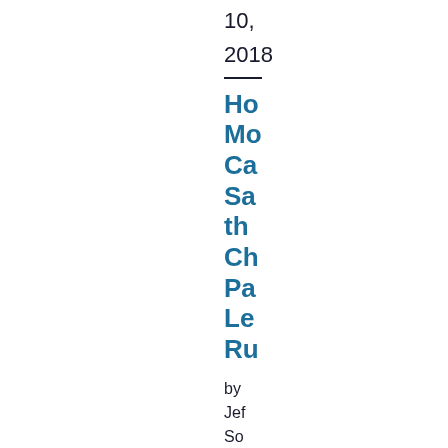10, 2018
Ho Mo Ca Sa th Ch Pa Le Ru
by Jef So
La mo Int Di